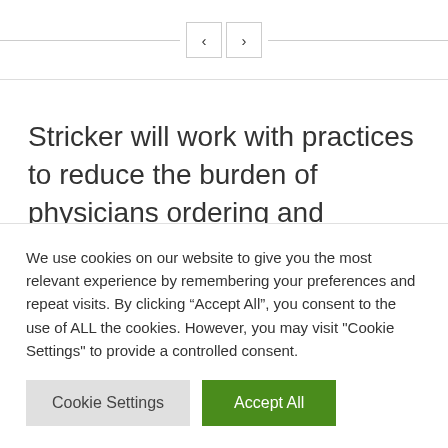< >
Stricker will work with practices to reduce the burden of physicians ordering and interpreting genomic tests.
We use cookies on our website to give you the most relevant experience by remembering your preferences and repeat visits. By clicking “Accept All”, you consent to the use of ALL the cookies. However, you may visit "Cookie Settings" to provide a controlled consent.
Cookie Settings | Accept All